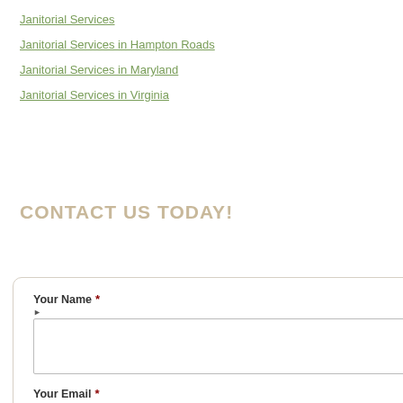Janitorial Services
Janitorial Services in Hampton Roads
Janitorial Services in Maryland
Janitorial Services in Virginia
CONTACT US TODAY!
Your Name *
Your Email *
Phone Number *
Your Message *